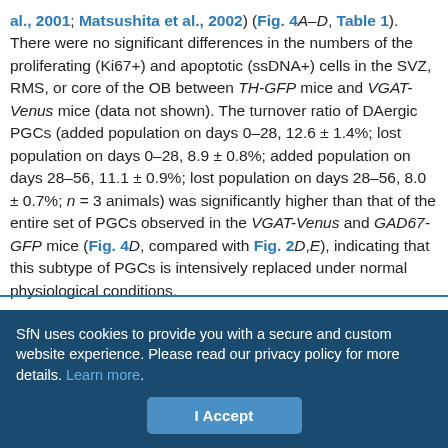al., 2001; Matsushita et al., 2002) (Fig. 4A–D, Table 1). There were no significant differences in the numbers of the proliferating (Ki67+) and apoptotic (ssDNA+) cells in the SVZ, RMS, or core of the OB between TH-GFP mice and VGAT-Venus mice (data not shown). The turnover ratio of DAergic PGCs (added population on days 0–28, 12.6 ± 1.4%; lost population on days 0–28, 8.9 ± 0.8%; added population on days 28–56, 11.1 ± 0.9%; lost population on days 28–56, 8.0 ± 0.7%; n = 3 animals) was significantly higher than that of the entire set of PGCs observed in the VGAT-Venus and GAD67-GFP mice (Fig. 4D, compared with Fig. 2D,E), indicating that this subtype of PGCs is intensively replaced under normal physiological conditions.
SfN uses cookies to provide you with a secure and custom website experience. Please read our privacy policy for more details. Learn more.